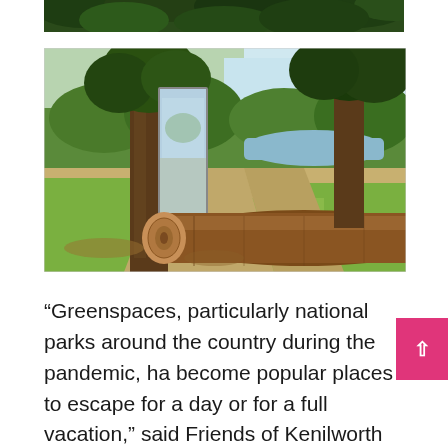[Figure (photo): Partial top portion of a photo showing dense green tree foliage, cropped at the bottom of the previous page.]
[Figure (photo): Outdoor park scene showing a large fallen log on the ground near trees, with a reflective standing mirror leaning against a tree trunk, and a pond or water body visible in the background through trees and greenery. Sunlight filters through the canopy.]
“Greenspaces, particularly national parks around the country during the pandemic, ha become popular places to escape for a day or for a full vacation,” said Friends of Kenilworth